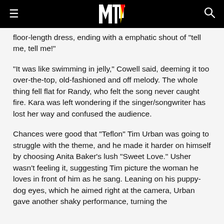MTV
floor-length dress, ending with a emphatic shout of "tell me, tell me!"
"It was like swimming in jelly," Cowell said, deeming it too over-the-top, old-fashioned and off melody. The whole thing fell flat for Randy, who felt the song never caught fire. Kara was left wondering if the singer/songwriter has lost her way and confused the audience.
Chances were good that "Teflon" Tim Urban was going to struggle with the theme, and he made it harder on himself by choosing Anita Baker's lush "Sweet Love." Usher wasn't feeling it, suggesting Tim picture the woman he loves in front of him as he sang. Leaning on his puppy-dog eyes, which he aimed right at the camera, Urban gave another shaky performance, turning the